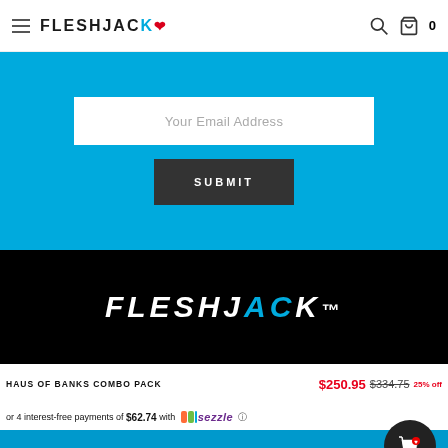FLESHJACK
Your Email Address
SUBMIT
[Figure (logo): Fleshjack brand logo in white text on black background with blue accent letters]
HAUS OF BANKS COMBO PACK
$250.95 $334.75 25% off
or 4 interest-free payments of $62.74 with Sezzle
ADD TO CART